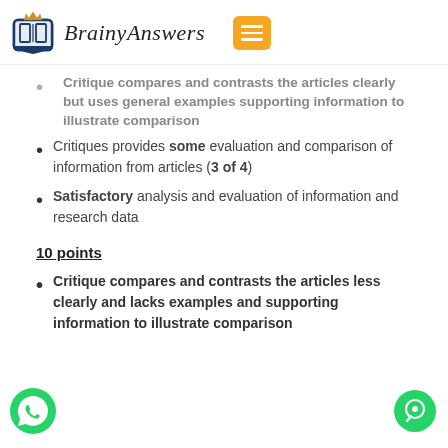[Figure (logo): BrainyAnswers logo with crown and book icon, and orange hamburger menu button]
Critique compares and contrasts the articles clearly but uses general examples supporting information to illustrate comparison
Critiques provides some evaluation and comparison of information from articles (3 of 4)
Satisfactory analysis and evaluation of information and research data
10 points
Critique compares and contrasts the articles less clearly and lacks examples and supporting information to illustrate comparison